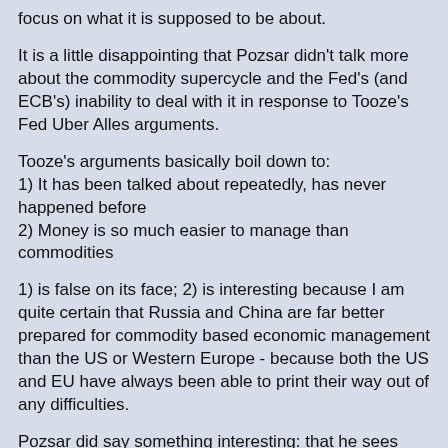focus on what it is supposed to be about.
It is a little disappointing that Pozsar didn't talk more about the commodity supercycle and the Fed's (and ECB's) inability to deal with it in response to Tooze's Fed Uber Alles arguments.
Tooze's arguments basically boil down to:
1) It has been talked about repeatedly, has never happened before
2) Money is so much easier to manage than commodities
1) is false on its face; 2) is interesting because I am quite certain that Russia and China are far better prepared for commodity based economic management than the US or Western Europe - because both the US and EU have always been able to print their way out of any difficulties.
Pozsar did say something interesting: that he sees China's switchover from net producer to internal/domestic consumption to be driven by external factors (i.e. sanctions and geopolitical actions reducing export production capacity utilization, which will likely lead said capacity to re-orient toward internal domestic consumption).
This is particularly interesting because this switchover has been touted by Western economists for literally 2+ decades - and which generally marks the end of rapid growth in a national economy as productivity is re-oriented to priori